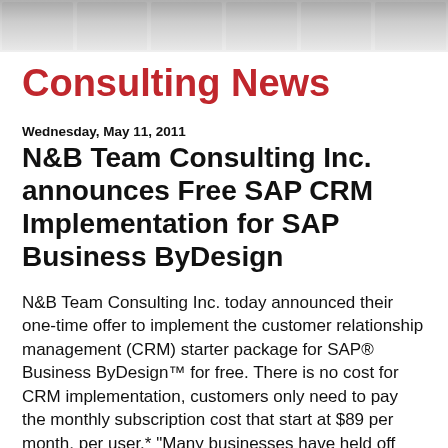Consulting News
Wednesday, May 11, 2011
N&B Team Consulting Inc. announces Free SAP CRM Implementation for SAP Business ByDesign
N&B Team Consulting Inc. today announced their one-time offer to implement the customer relationship management (CRM) starter package for SAP® Business ByDesign™ for free. There is no cost for CRM implementation, customers only need to pay the monthly subscription cost that start at $89 per month, per user.* “Many businesses have held off buying a CRM or ERP solution due to costs. Now it is possible for these same businesses to implement the next generation SAP solution and thus adopt one of the most comprehensive on-demand solutions on the market”, said Allan Demers, Principle Business Advisor for N&B Team